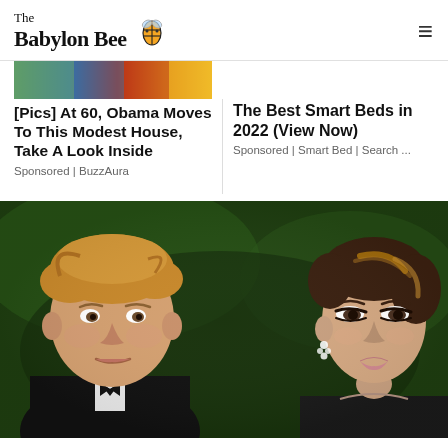The Babylon Bee
[Pics] At 60, Obama Moves To This Modest House, Take A Look Inside
Sponsored | BuzzAura
The Best Smart Beds in 2022 (View Now)
Sponsored | Smart Bed | Search ...
[Figure (photo): Photo of two people in formal attire against a dark green background. A man on the left in a tuxedo with bow tie, and a woman on the right with dark hair and diamond earrings.]